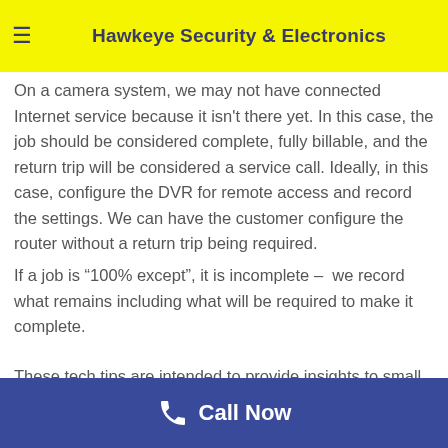Hawkeye Security & Electronics
On a camera system, we may not have connected Internet service because it isn't there yet. In this case, the job should be considered complete, fully billable, and the return trip will be considered a service call. Ideally, in this case, configure the DVR for remote access and record the settings. We can have the customer configure the router without a return trip being required. If a job is “100% except”, it is incomplete –  we record what remains including what will be required to make it complete.
These tech tips are intended to provide insights to small nuances to help with many different products we
Call Now